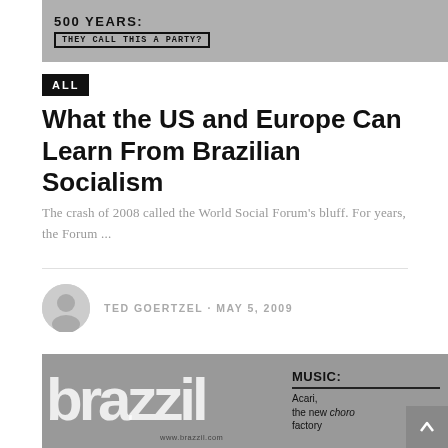[Figure (photo): Black and white photo with text overlay reading '500 YEARS: THEY CALL THIS A PARTY?']
ALL
What the US and Europe Can Learn From Brazilian Socialism
The crash of 2008 called the World Social Forum's bluff. For years, the Forum ...
TED GOERTZEL · MAY 5, 2009
[Figure (photo): Bottom image showing Brazzil magazine logo with 'MUSIC: Acari, the new choro factory' text overlay]